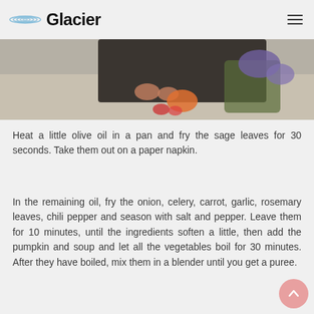Glacier
[Figure (photo): Person sitting outdoors near vegetables and herbs/flowers, partial view from mid-body down]
Heat a little olive oil in a pan and fry the sage leaves for 30 seconds. Take them out on a paper napkin.
In the remaining oil, fry the onion, celery, carrot, garlic, rosemary leaves, chili pepper and season with salt and pepper. Leave them for 10 minutes, until the ingredients soften a little, then add the pumpkin and soup and let all the vegetables boil for 30 minutes. After they have boiled, mix them in a blender until you get a puree.